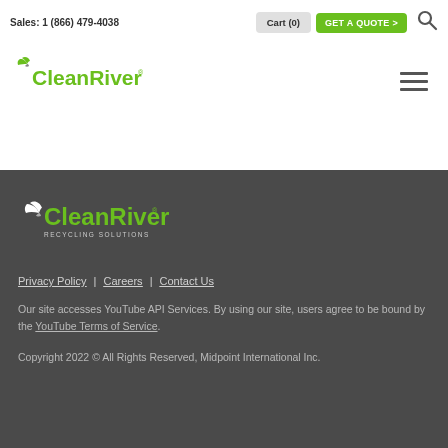Sales: 1 (866) 479-4038  Cart (0)  GET A QUOTE >
[Figure (logo): CleanRiver logo with bird icon in green]
[Figure (logo): CleanRiver Recycling Solutions logo in white/green on dark background]
Privacy Policy | Careers | Contact Us
Our site accesses YouTube API Services. By using our site, users agree to be bound by the YouTube Terms of Service.
Copyright 2022 © All Rights Reserved, Midpoint International Inc.